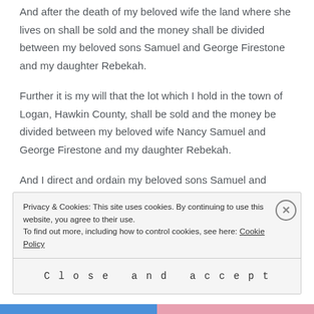And after the death of my beloved wife the land where she lives on shall be sold and the money shall be divided between my beloved sons Samuel and George Firestone and my daughter Rebekah.
Further it is my will that the lot which I hold in the town of Logan, Hawkin County, shall be sold and the money be divided between my beloved wife Nancy Samuel and George Firestone and my daughter Rebekah.
And I direct and ordain my beloved sons Samuel and
Privacy & Cookies: This site uses cookies. By continuing to use this website, you agree to their use. To find out more, including how to control cookies, see here: Cookie Policy
Close and accept